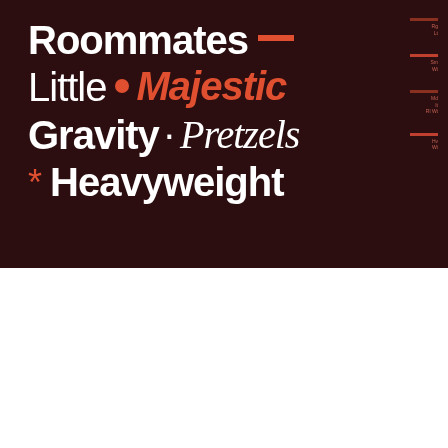[Figure (illustration): Dark brown/maroon background typography specimen showing 'Roommates —', 'Little • Majestic', 'Gravity · Pretzels', '* Heavyweight' in white and orange/red typefaces with weight/style measurements on the right side]
[Figure (illustration): Light grey background showing font specimen with 'Roxfa' in large dark serif type with the 'x' in orange/red, with measurement guide lines and labels. A small blue navigation button with Japanese text 'トップ' (top) is visible at bottom right.]